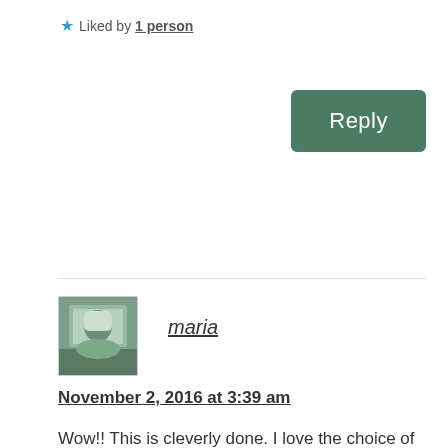★ Liked by 1 person
Reply
[Figure (photo): Avatar photo of user maria]
maria
November 2, 2016 at 3:39 am
Wow!! This is cleverly done. I love the choice of words. Each line tugs the heart. </3
★ Liked by 1 person
Reply